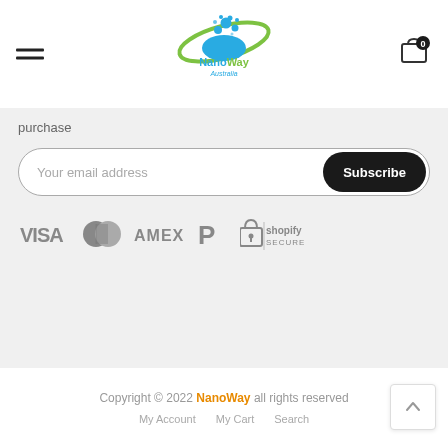[Figure (logo): NanoWay Australia logo with water droplet and orbit graphic in blue and green]
purchase
Your email address
Subscribe
[Figure (other): Payment method icons: VISA, Mastercard, AMEX, PayPal, Shopify Secure]
Copyright © 2022 NanoWay all rights reserved
My Account  My Cart  Search